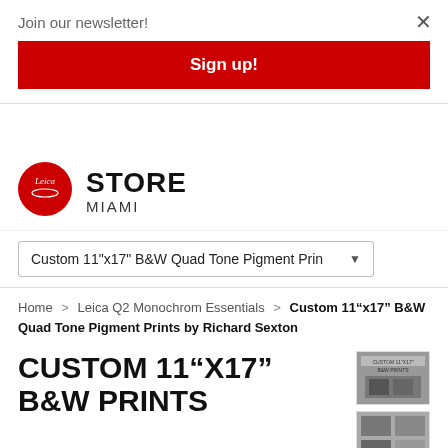Join our newsletter!
Sign up!
[Figure (logo): Leica red circle logo with script text]
STORE MIAMI
Custom 11"x17" B&W Quad Tone Pigment Prin▼
Home > Leica Q2 Monochrom Essentials > Custom 11"x17" B&W Quad Tone Pigment Prints by Richard Sexton
CUSTOM 11"X17" B&W PRINTS
[Figure (photo): Small thumbnail showing custom prints label]
[Figure (photo): Small thumbnail showing arranged prints]
[Figure (photo): Main photo of man with glasses looking at black and white photos on wall]